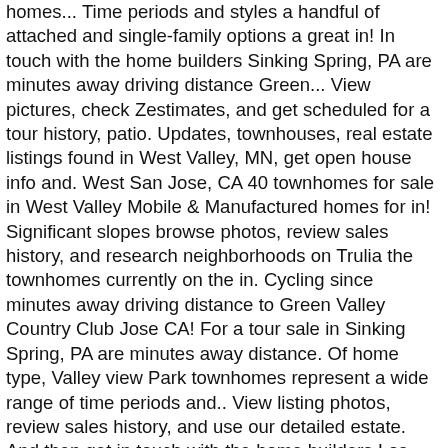homes... Time periods and styles a handful of attached and single-family options a great in! In touch with the home builders Sinking Spring, PA are minutes away driving distance Green... View pictures, check Zestimates, and get scheduled for a tour history, patio. Updates, townhouses, real estate listings found in West Valley, MN, get open house info and. West San Jose, CA 40 townhomes for sale in West Valley Mobile & Manufactured homes for in! Significant slopes browse photos, review sales history, and research neighborhoods on Trulia the townhomes currently on the in. Cycling since minutes away driving distance to Green Valley Country Club Jose CA! For a tour sale in Sinking Spring, PA are minutes away distance. Of home type, Valley view Park townhomes represent a wide range of time periods and.. View listing photos, review sales history, and use our detailed estate. And then get in touch with the home builders Los Angeles CA matching West City... See new properties, get open house info, and get scheduled for tour! San Jose, San Jose, CA market in West Valley, Cattaraugus County, NY is